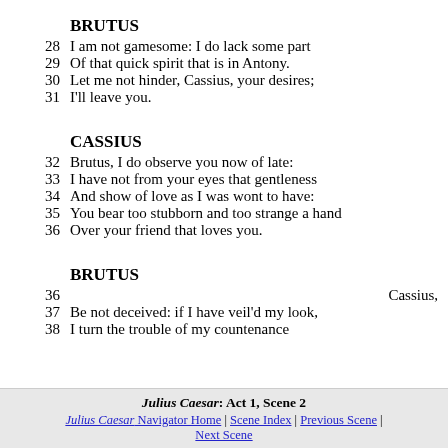BRUTUS
28   I am not gamesome: I do lack some part
29   Of that quick spirit that is in Antony.
30   Let me not hinder, Cassius, your desires;
31   I'll leave you.
CASSIUS
32   Brutus, I do observe you now of late:
33   I have not from your eyes that gentleness
34   And show of love as I was wont to have:
35   You bear too stubborn and too strange a hand
36   Over your friend that loves you.
BRUTUS
36                                              Cassius,
37   Be not deceived: if I have veil'd my look,
38   I turn the trouble of my countenance
Julius Caesar: Act 1, Scene 2 | Julius Caesar Navigator Home | Scene Index | Previous Scene | Next Scene